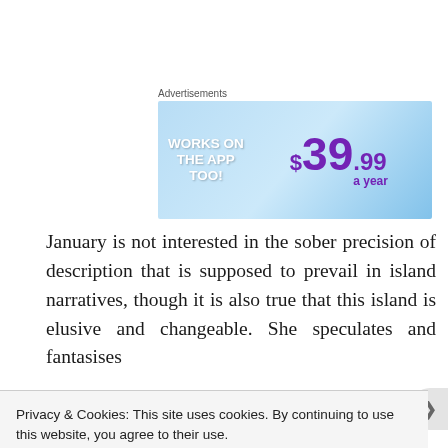[Figure (other): Advertisement banner showing 'WORKS ON THE APP TOO!' on the left with a price of $39.99 a year on the right, blue gradient background]
January is not interested in the sober precision of description that is supposed to prevail in island narratives, though it is also true that this island is elusive and changeable. She speculates and fantasises
Privacy & Cookies: This site uses cookies. By continuing to use this website, you agree to their use.
To find out more, including how to control cookies, see here: Cookie Policy
Close and accept